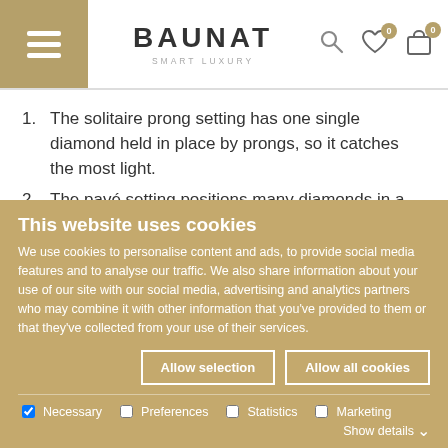BAUNAT SMART LUXURY
The solitaire prong setting has one single diamond held in place by prongs, so it catches the most light.
The pavé setting positions many diamonds in a row so closely that hardly any metal is visible, resulting in a brilliant shine.
This website uses cookies
We use cookies to personalise content and ads, to provide social media features and to analyse our traffic. We also share information about your use of our site with our social media, advertising and analytics partners who may combine it with other information that you've provided to them or that they've collected from your use of their services.
Allow selection | Allow all cookies
Necessary  Preferences  Statistics  Marketing  Show details